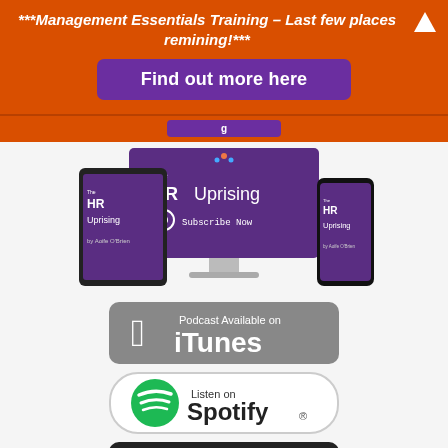***Management Essentials Training – Last few places remining!***
[Figure (other): Purple 'Find out more here' button]
[Figure (screenshot): The HR Uprising podcast subscribe now graphic shown on desktop monitor, tablet, and smartphone devices]
[Figure (logo): Podcast Available on iTunes badge - dark grey rounded rectangle with Apple logo and iTunes text]
[Figure (logo): Listen on Spotify badge - white rounded rectangle with Spotify logo]
[Figure (other): Partially visible dark badge at bottom of page]